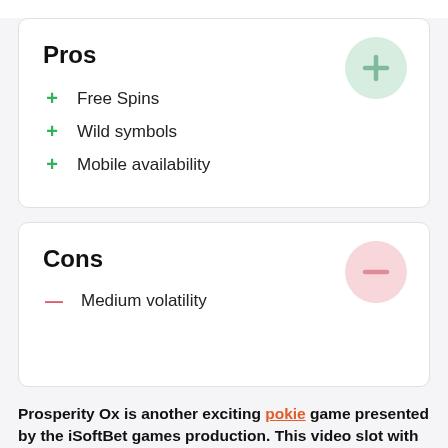Pros
Free Spins
Wild symbols
Mobile availability
Cons
Medium volatility
Prosperity Ox is another exciting pokie game presented by the iSoftBet games production. This video slot with 6